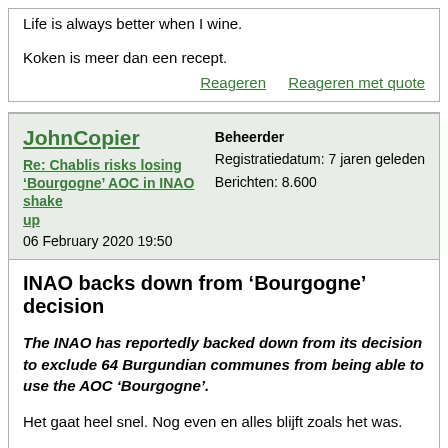Life is always better when I wine.

Koken is meer dan een recept.
Reageren    Reageren met quote
JohnCopier
Re: Chablis risks losing 'Bourgogne' AOC in INAO shake up
06 February 2020 19:50
Beheerder
Registratiedatum: 7 jaren geleden
Berichten: 8.600
INAO backs down from ‘Bourgogne’ decision
The INAO has reportedly backed down from its decision to exclude 64 Burgundian communes from being able to use the AOC ‘Bourgogne’.
Het gaat heel snel. Nog even en alles blijft zoals het was.
[www.thedrinksbusiness.com]
John